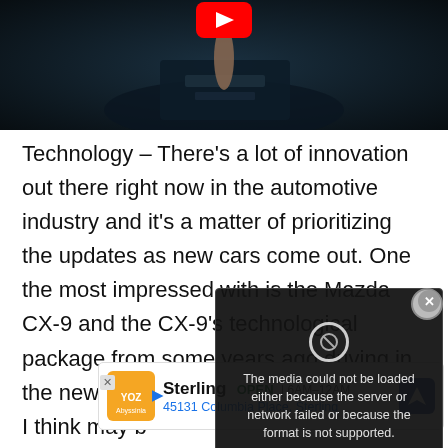[Figure (screenshot): Video thumbnail showing a dark automotive interior scene with a red YouTube play button overlay at the top center, and a hand interacting with a car interface below.]
Technology – There's a lot of innovation out there right now in the automotive industry and it's a matter of prioritizing the updates as new cars come out. One th[ing that has been most] impressed with is the [Mazda CX-9 and] the CX-9's technologi[cal updates are from] some years ago drivin[g and having that] techn[ology now does ma]ke it then [and now I] think may b[e...]
[Figure (screenshot): Media error overlay popup with dark background showing text: 'The media could not be loaded either because the server or network failed or because the format is not supported.' with a close X button and a circular error icon.]
[Figure (screenshot): Advertisement banner for Sterling business showing orange logo, OPEN badge, hours 6AM-12AM, address 45131 Columbia Place, Sterling, and a blue navigation direction icon.]